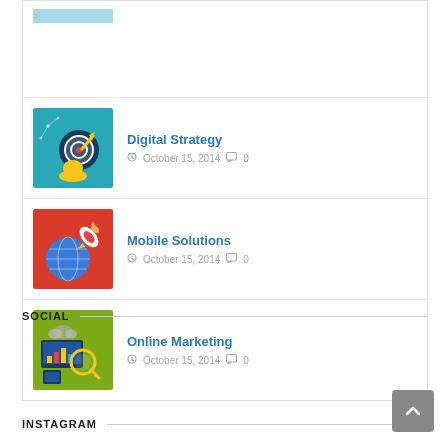[Figure (illustration): Partial teal/light-blue thumbnail at top of list (cropped)]
Digital Strategy
October 15, 2014  0
Mobile Solutions
October 15, 2014  0
Online Marketing
October 15, 2014  0
SOCIAL
INSTAGRAM